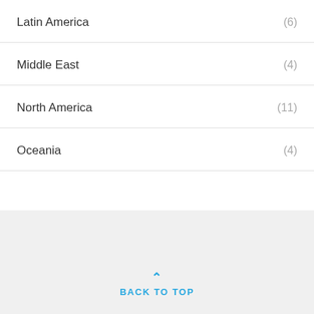Latin America (6)
Middle East (4)
North America (11)
Oceania (4)
BACK TO TOP